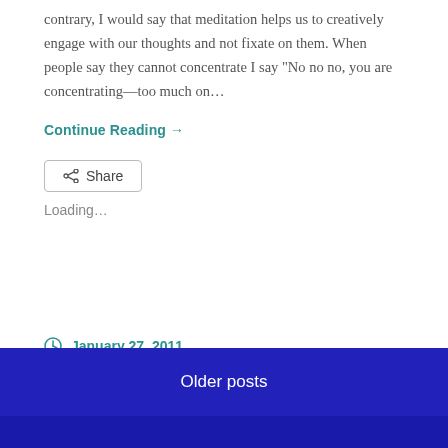contrary, I would say that meditation helps us to creatively engage with our thoughts and not fixate on them. When people say they cannot concentrate I say “No no no, you are concentrating—too much on…
Continue Reading →
Share
Loading…
January 27, 2011
Older posts